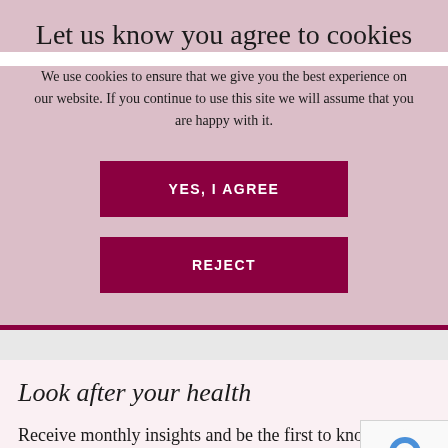Let us know you agree to cookies
We use cookies to ensure that we give you the best experience on our website. If you continue to use this site we will assume that you are happy with it.
YES, I AGREE
REJECT
Look after your health
Receive monthly insights and be the first to know about new services and vaccines